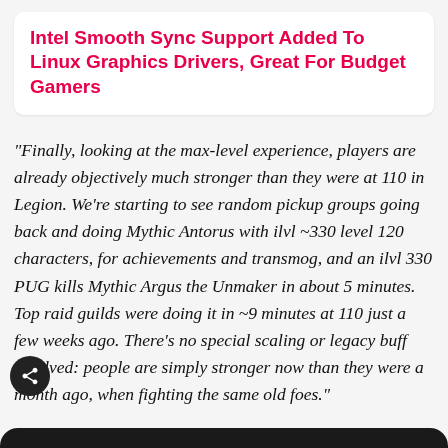Intel Smooth Sync Support Added To Linux Graphics Drivers, Great For Budget Gamers
"Finally, looking at the max-level experience, players are already objectively much stronger than they were at 110 in Legion. We're starting to see random pickup groups going back and doing Mythic Antorus with ilvl ~330 level 120 characters, for achievements and transmog, and an ilvl 330 PUG kills Mythic Argus the Unmaker in about 5 minutes. Top raid guilds were doing it in ~9 minutes at 110 just a few weeks ago. There's no special scaling or legacy buff involved: people are simply stronger now than they were a month ago, when fighting the same old foes."